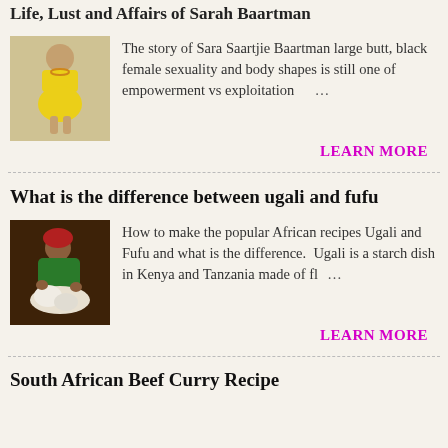Life, Lust and Affairs of Sarah Baartman
[Figure (photo): Photo of Sara Baartman, a woman in yellow outfit]
The story of Sara Saartjie Baartman large butt, black female sexuality and body shapes is still one of empowerment vs exploitation …
LEARN MORE
What is the difference between ugali and fufu
[Figure (photo): Photo of an African woman making food, preparing ugali or fufu]
How to make the popular African recipes Ugali and Fufu and what is the difference.  Ugali is a starch dish in Kenya and Tanzania made of fl …
LEARN MORE
South African Beef Curry Recipe